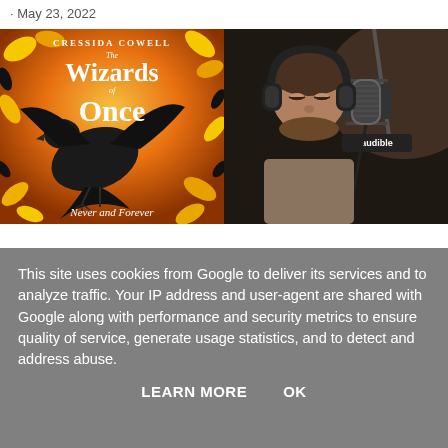May 23, 2022
[Figure (photo): Book cover for 'The Wizards of Once: Never and Forever' by Cressida Cowell, showing a black raven against an orange and yellow background with decorative leaves]
[Figure (photo): Man wearing headphones recording at an Audible microphone in a studio, dark background]
This site uses cookies from Google to deliver its services and to analyze traffic. Your IP address and user-agent are shared with Google along with performance and security metrics to ensure quality of service, generate usage statistics, and to detect and address abuse.
LEARN MORE    OK